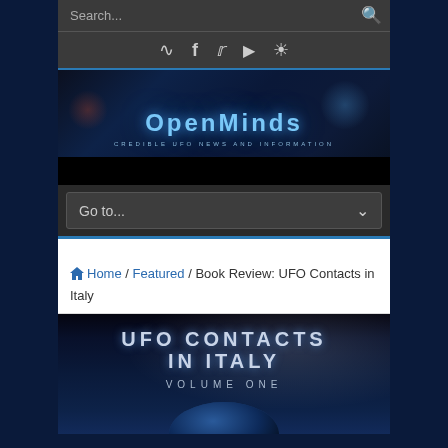Search...
[Figure (screenshot): OpenMinds website header with logo banner showing 'OpenMinds - CREDIBLE UFO NEWS AND INFORMATION' with blue cosmic background]
Go to...
Home / Featured / Book Review: UFO Contacts in Italy
[Figure (photo): Book cover image: UFO Contacts in Italy Volume One, showing large text on dark space background with a planet at the bottom]